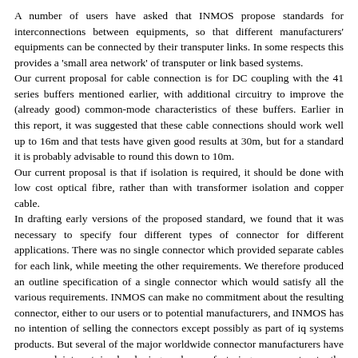A number of users have asked that INMOS propose standards for interconnections between equipments, so that different manufacturers' equipments can be connected by their transputer links. In some respects this provides a 'small area network' of transputer or link based systems.
Our current proposal for cable connection is for DC coupling with the 41 series buffers mentioned earlier, with additional circuitry to improve the (already good) common-mode characteristics of these buffers. Earlier in this report, it was suggested that these cable connections should work well up to 16m and that tests have given good results at 30m, but for a standard it is probably advisable to round this down to 10m.
Our current proposal is that if isolation is required, it should be done with low cost optical fibre, rather than with transformer isolation and copper cable.
In drafting early versions of the proposed standard, we found that it was necessary to specify four different types of connector for different applications. There was no single connector which provided separate cables for each link, while meeting the other requirements. We therefore produced an outline specification of a single connector which would satisfy all the various requirements. INMOS can make no commitment about the resulting connector, either to our users or to potential manufacturers, and INMOS has no intention of selling the connectors except possibly as part of iq systems products. But several of the major worldwide connector manufacturers have expressed interest in developing and manufacturing a connector to the specification. An outline description of this proposed connector is included as an appendix.
The four connectors specified in the draft standard are 9-way D type